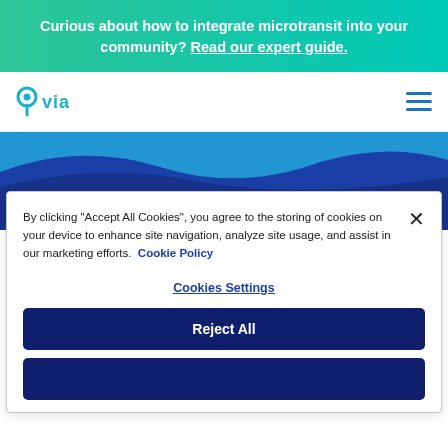Curious about how to integrate microtransit into your community? Read our expert guide.
[Figure (logo): Via logo - location pin with 'via' text in teal/blue]
Privacy information
By clicking "Accept All Cookies", you agree to the storing of cookies on your device to enhance site navigation, analyze site usage, and assist in our marketing efforts. Cookie Policy
Cookies Settings
Reject All